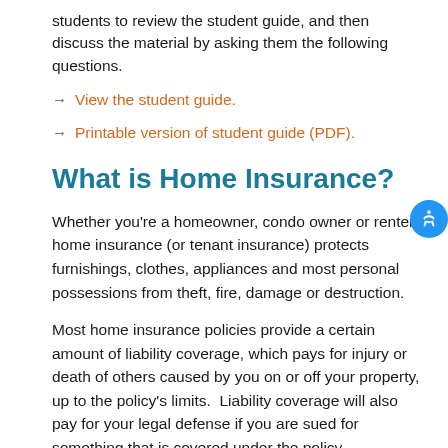students to review the student guide, and then discuss the material by asking them the following questions.
→ View the student guide.
→ Printable version of student guide (PDF).
What is Home Insurance?
Whether you're a homeowner, condo owner or renter, home insurance (or tenant insurance) protects furnishings, clothes, appliances and most personal possessions from theft, fire, damage or destruction.
Most home insurance policies provide a certain amount of liability coverage, which pays for injury or death of others caused by you on or off your property, up to the policy's limits.  Liability coverage will also pay for your legal defense if you are sued for something that is covered under the policy.